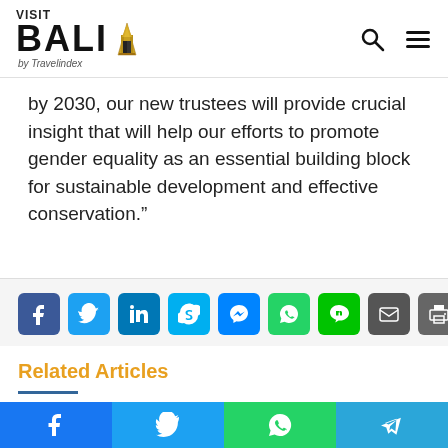VISIT BALI by Travelindex
by 2030, our new trustees will provide crucial insight that will help our efforts to promote gender equality as an essential building block for sustainable development and effective conservation.”
[Figure (infographic): Social share buttons: Facebook, Twitter, LinkedIn, Skype, Messenger, WhatsApp, Line, Email, Print]
Related Articles
Saudi Crown Prince to
IATA Calls for Sustainable
[Figure (infographic): Bottom social share bar with Facebook, Twitter, WhatsApp, Telegram buttons]